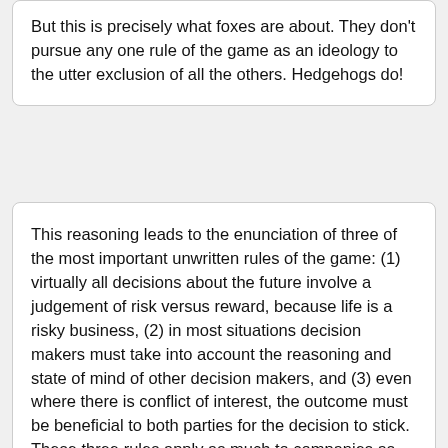But this is precisely what foxes are about. They don't pursue any one rule of the game as an ideology to the utter exclusion of all the others. Hedgehogs do!
This reasoning leads to the enunciation of three of the most important unwritten rules of the game: (1) virtually all decisions about the future involve a judgement of risk versus reward, because life is a risky business, (2) in most situations decision makers must take into account the reasoning and state of mind of other decision makers, and (3) even where there is conflict of interest, the outcome must be beneficial to both parties for the decision to stick. These three rules apply as much to companies as they do to individuals. Game theory, which was originally developed in a book entitled The Theory of Games and Economic Behaviour by John von Neumann and Oskar Morgenstern and published in 1944, expands on these rules. Let us begin with a